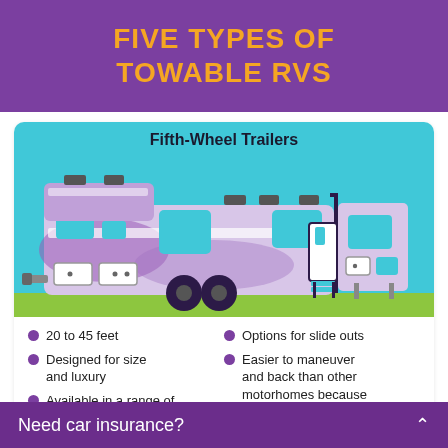FIVE TYPES OF TOWABLE RVS
Fifth-Wheel Trailers
[Figure (illustration): Illustration of a fifth-wheel trailer RV in purple and white with cyan windows, wheels, door, and slide-out section on a green/cyan ground strip.]
20 to 45 feet
Designed for size and luxury
Available in a range of
Options for slide outs
Easier to maneuver and back than other motorhomes because
Need car insurance?